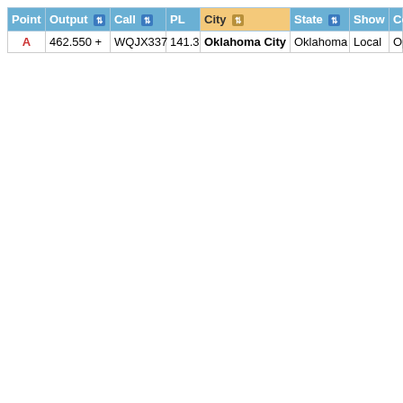| Point | Output | Call | PL | City | State | Show | Comments |
| --- | --- | --- | --- | --- | --- | --- | --- |
| A | 462.550 + | WQJX337 | 141.3 | Oklahoma City | Oklahoma | Local | Open to LICENS |